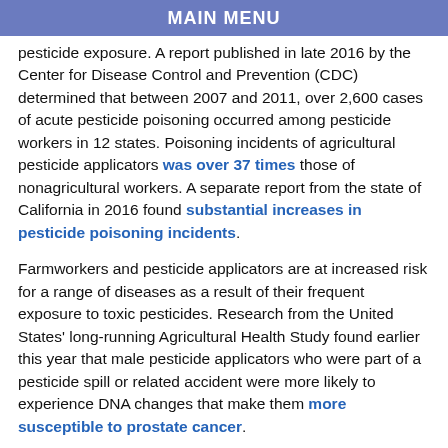MAIN MENU
pesticide exposure. A report published in late 2016 by the Center for Disease Control and Prevention (CDC) determined that between 2007 and 2011, over 2,600 cases of acute pesticide poisoning occurred among pesticide workers in 12 states. Poisoning incidents of agricultural pesticide applicators was over 37 times those of nonagricultural workers. A separate report from the state of California in 2016 found substantial increases in pesticide poisoning incidents.
Farmworkers and pesticide applicators are at increased risk for a range of diseases as a result of their frequent exposure to toxic pesticides. Research from the United States' long-running Agricultural Health Study found earlier this year that male pesticide applicators who were part of a pesticide spill or related accident were more likely to experience DNA changes that make them more susceptible to prostate cancer.
While the Obama-era update to AWPS was not ideal, and could have been further strengthened, the process considered a wide range of stakeholder input, including both industry and farmworker advocates. Opening back up the rules will benefit only one group of stakeholders, the pesticide industry. To